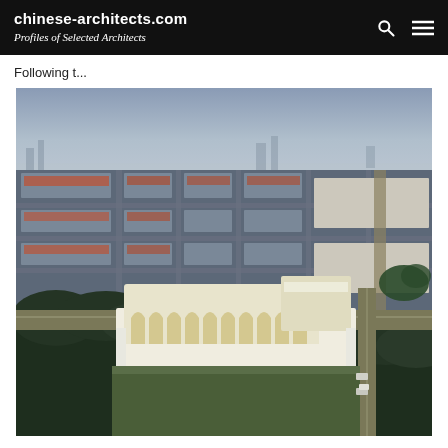chinese-architects.com
Profiles of Selected Architects
Following t...
[Figure (photo): Aerial drone photograph at dusk of a Chinese city showing dense urban residential blocks with red-tiled roofs, streets, and trees. In the foreground is a modern white building complex with arched facades and a distinctive barrel-vaulted roof structure, surrounded by greenery and roads.]